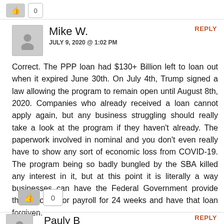Mike W.
JULY 9, 2020 @ 1:02 PM
Correct. The PPP loan had $130+ Billion left to loan out when it expired June 30th. On July 4th, Trump signed a law allowing the program to remain open until August 8th, 2020. Companies who already received a loan cannot apply again, but any business struggling should really take a look at the program if they haven't already. The paperwork involved in nominal and you don't even really have to show any sort of economic loss from COVID-19. The program being so badly bungled by the SBA killed any interest in it, but at this point it is literally a way businesses can have the Federal Government provide them money for payroll for 24 weeks and have that loan forgiven.
Pauly B
JULY 9, 2020 @ 10:35 AM